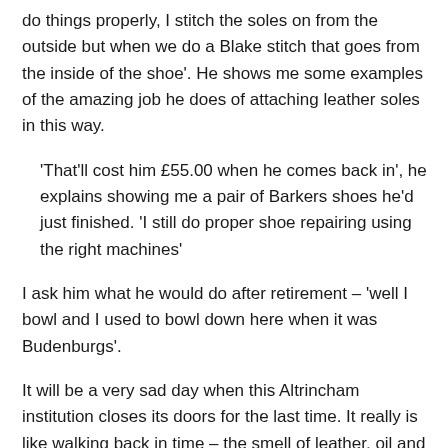do things properly, I stitch the soles on from the outside but when we do a Blake stitch that goes from the inside of the shoe'. He shows me some examples of the amazing job he does of attaching leather soles in this way.
'That'll cost him £55.00 when he comes back in', he explains showing me a pair of Barkers shoes he'd just finished. 'I still do proper shoe repairing using the right machines'
I ask him what he would do after retirement – 'well I bowl and I used to bowl down here when it was Budenburgs'.
It will be a very sad day when this Altrincham institution closes its doors for the last time. It really is like walking back in time – the smell of leather, oil and machinery. Geoff adds as we leave the shop in to a wet Altrincham afternoon, 'People can't buy a decent belt these days – they buy plastic and it has a spray of